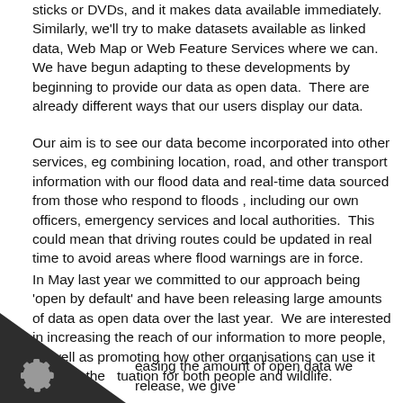sticks or DVDs, and it makes data available immediately. Similarly, we'll try to make datasets available as linked data, Web Map or Web Feature Services where we can.  We have begun adapting to these developments by beginning to provide our data as open data.  There are already different ways that our users display our data.
Our aim is to see our data become incorporated into other services, eg combining location, road, and other transport information with our flood data and real-time data sourced from those who respond to floods , including our own officers, emergency services and local authorities.  This could mean that driving routes could be updated in real time to avoid areas where flood warnings are in force.
In May last year we committed to our approach being 'open by default' and have been releasing large amounts of data as open data over the last year.  We are interested in increasing the reach of our information to more people, as well as promoting how other organisations can use it improve the situation for both people and wildlife.
easing the amount of open data we release, we give